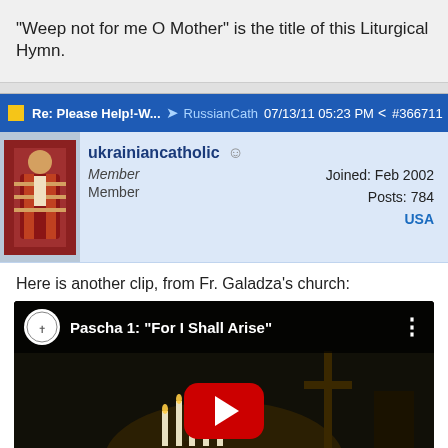"Weep not for me O Mother" is the title of this Liturgical Hymn.
Re: Please Help!-W... → RussianCath 07/13/11 05:23 PM  #366711
ukrainiancatholic  Member  Member  Joined: Feb 2002  Posts: 784  USA
Here is another clip, from Fr. Galadza's church:
[Figure (screenshot): YouTube video thumbnail showing a church scene with candles lit before an iconostasis. Video title: Pascha 1: "For I Shall Arise"]